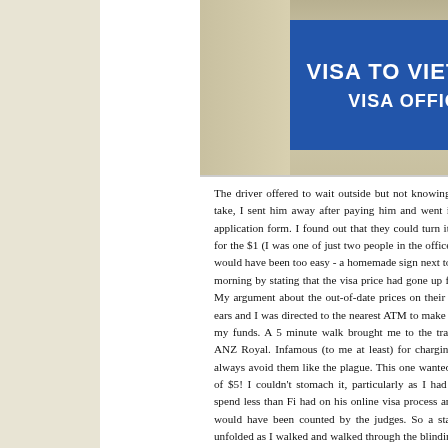[Figure (photo): Photo of a blue sign reading 'VISA TO VIETNAM VISA OFFICE' mounted on a wall outdoors, with trees and street visible in the background]
The driver offered to wait outside but not knowing how long it would take, I sent him away after paying him and went inside to fill out the application form. I found out that they could turn it round in 5 minutes for the $1 (I was one of just two people in the office), but of course that would have been too easy - a homemade sign next to the desk ruined my morning by stating that the visa price had gone up from January to $60. My argument about the out-of-date prices on their website fell on deaf ears and I was directed to the nearest ATM to make up the $10 deficit in my funds. A 5 minute walk brought me to the traveller's worst ATM: ANZ Royal. Infamous (to me at least) for charging super high fees, I always avoid them like the plague. This one wanted to charge a flat fee of $5! I couldn't stomach it, particularly as I had a secret mission to spend less than Fi had on his online visa process and a $5 ATM charge would have been counted by the judges. So a standard Will mission unfolded as I walked and walked through the blinding heat looking for a free or at least cheap ATM. It is hardly worth detailing all the hours of which no att...